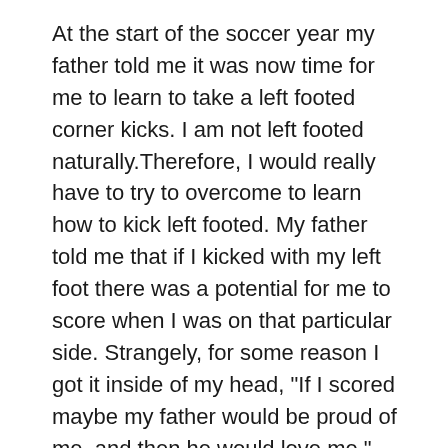At the start of the soccer year my father told me it was now time for me to learn to take a left footed corner kicks. I am not left footed naturally.Therefore, I would really have to try to overcome to learn how to kick left footed. My father told me that if I kicked with my left foot there was a potential for me to score when I was on that particular side. Strangely, for some reason I got it inside of my head, "If I scored maybe my father would be proud of me, and then he would love me."
So, I practiced and practiced kicking with my left foot. I was so obsessed that I even practiced at home when I got home from school. I would bring my